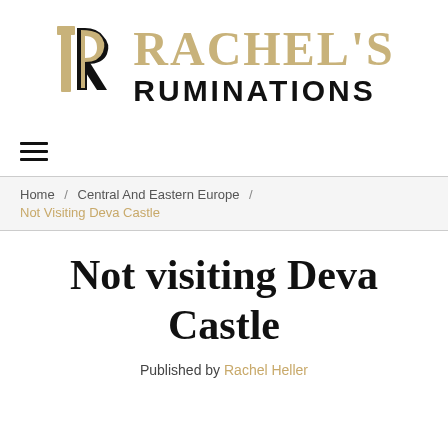[Figure (logo): Rachel's Ruminations blog logo with stylized R lettermark in tan/gold and text RACHEL'S in gold serif and RUMINATIONS in black sans-serif]
[Figure (other): Hamburger menu icon (three horizontal lines)]
Home / Central And Eastern Europe / Not Visiting Deva Castle
Not visiting Deva Castle
Published by Rachel Heller